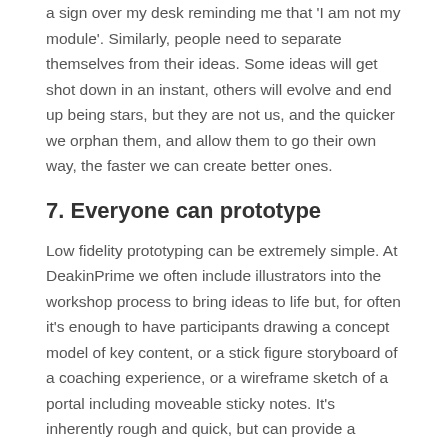a sign over my desk reminding me that 'I am not my module'. Similarly, people need to separate themselves from their ideas. Some ideas will get shot down in an instant, others will evolve and end up being stars, but they are not us, and the quicker we orphan them, and allow them to go their own way, the faster we can create better ones.
7. Everyone can prototype
Low fidelity prototyping can be extremely simple. At DeakinPrime we often include illustrators into the workshop process to bring ideas to life but, for often it's enough to have participants drawing a concept model of key content, or a stick figure storyboard of a coaching experience, or a wireframe sketch of a portal including moveable sticky notes. It's inherently rough and quick, but can provide a preview of an experience to allow us to fail faster.
8. [partially visible]